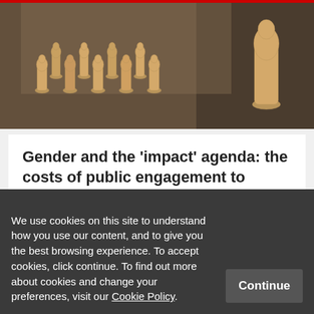[Figure (photo): Wooden pawn figurines arranged on a dark gravel surface — many small ones grouped to the left and a taller single one on the right.]
Gender and the ‘impact’ agenda: the costs of public engagement to female academics
JUNE 14TH, 2019
1 …
Academic communication
We use cookies on this site to understand how you use our content, and to give you the best browsing experience. To accept cookies, click continue. To find out more about cookies and change your preferences, visit our Cookie Policy.
Continue